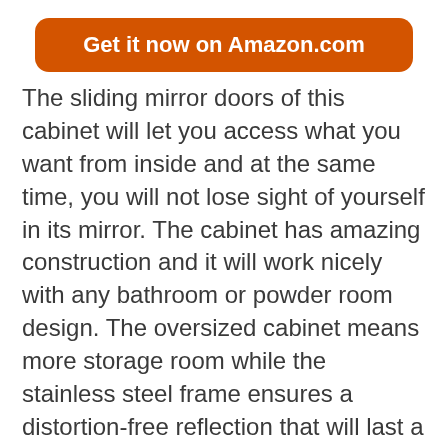[Figure (other): Orange rounded rectangle button with white bold text reading 'Get it now on Amazon.com']
The sliding mirror doors of this cabinet will let you access what you want from inside and at the same time, you will not lose sight of yourself in its mirror. The cabinet has amazing construction and it will work nicely with any bathroom or powder room design. The oversized cabinet means more storage room while the stainless steel frame ensures a distortion-free reflection that will last a lifetime. Get this cabinet and it will make sure that your bath items are always within reach.